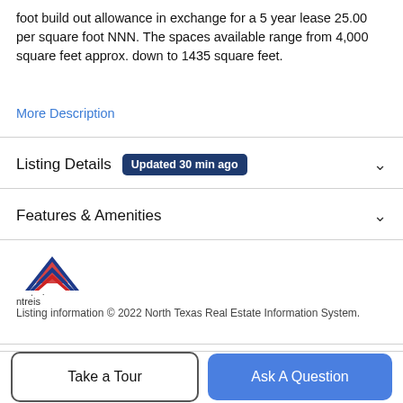foot build out allowance in exchange for a 5 year lease 25.00 per square foot NNN. The spaces available range from 4,000 square feet approx. down to 1435 square feet.
More Description
Listing Details   Updated 30 min ago
Features & Amenities
[Figure (logo): NTREIS logo with stylized house/triangle shape in red and blue]
Listing information © 2022 North Texas Real Estate Information System.
Schools
Take a Tour
Ask A Question